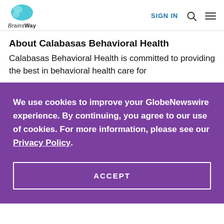BrainsWay — SIGN IN
About Calabasas Behavioral Health
Calabasas Behavioral Health is committed to providing the best in behavioral health care for
We use cookies to improve your GlobeNewswire experience. By continuing, you agree to our use of cookies. For more information, please see our Privacy Policy.
ACCEPT